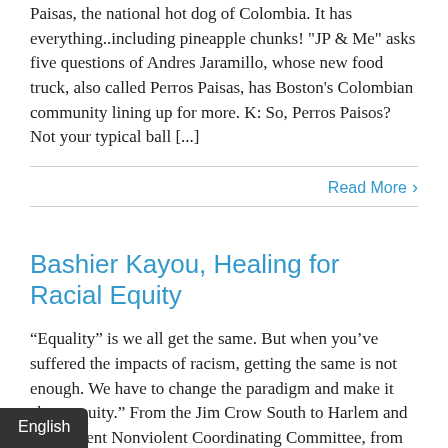Paisas, the national hot dog of Colombia. It has everything..including pineapple chunks! "JP & Me" asks five questions of Andres Jaramillo, whose new food truck, also called Perros Paisas, has Boston's Colombian community lining up for more. K: So, Perros Paisos? Not your typical ball [...]
Read More ›
Bashier Kayou, Healing for Racial Equity
“Equality” is we all get the same. But when you’ve suffered the impacts of racism, getting the same is not enough. We have to change the paradigm and make it about equity.” From the Jim Crow South to Harlem and the Student Nonviolent Coordinating Committee, from Outward Bound to the JP Neighborhood Trauma Team, [...]
English